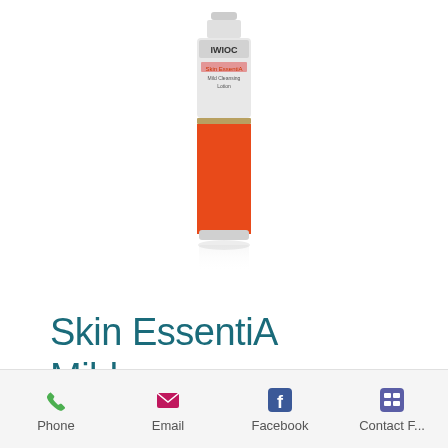[Figure (photo): Product photo of Skin EssentiA Mild Cleansing Lotion 200ml bottle with white/grey top and orange/red lower body, shown against white background with slight reflection below]
Skin EssentiA Mild Cleansing Lotion 200ml
[Figure (infographic): Mobile app bottom navigation bar with four icons: Phone (green phone icon), Email (pink/magenta envelope icon), Facebook (blue Facebook icon), Contact F... (purple grid/contact icon)]